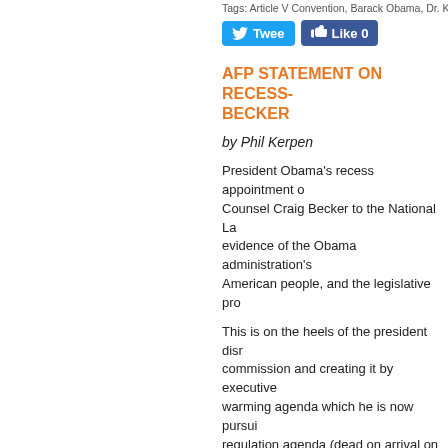Tags: Article V Convention, Barack Obama, Dr. Kevin…
[Figure (screenshot): Social media buttons: Twitter Tweet button (blue) and Facebook Like 0 button (blue)]
AFP STATEMENT ON RECESS… BECKER
by Phil Kerpen
President Obama's recess appointment of… Counsel Craig Becker to the National La… evidence of the Obama administration's… American people, and the legislative pro…
This is on the heels of the president disr… commission and creating it by executive… warming agenda which he is now pursui… regulation agenda (dead on arrival on Ca… FCC. Congress emphatically rejected ca… Employee Free Choice Act) and by the b… implementing it without a vote of Congre… bipartisan vote -- blocked his confirmatio…
Continue reading "AFP Statement on rec…
Sunday, March 28, 2010 at 09:56 PM | Permalink | C…
[Figure (screenshot): Social media buttons at bottom: Twitter Tweet button and Facebook Like button]